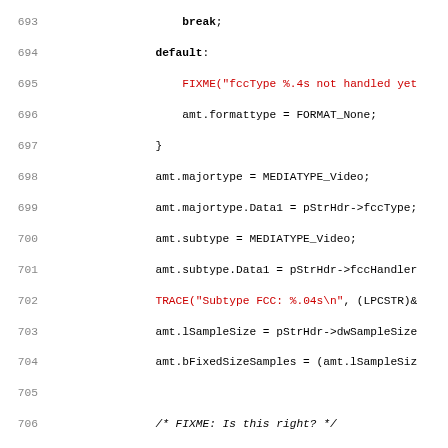Source code listing lines 693-725, C/C++ code for media type handling